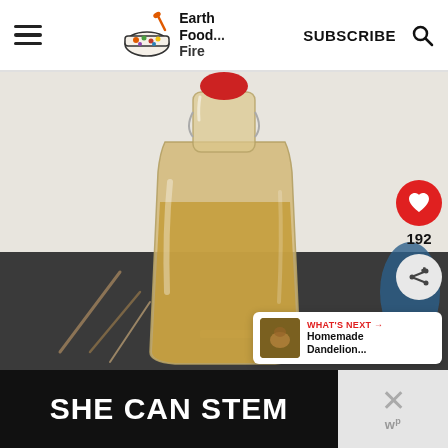Earth Food Fire — SUBSCRIBE
[Figure (photo): A glass swing-top bottle filled with golden amber liquid (likely homemade mead or syrup), with a red rubber stopper, set on a dark surface with twigs nearby]
192
WHAT'S NEXT → Homemade Dandelion...
SHE CAN STEM